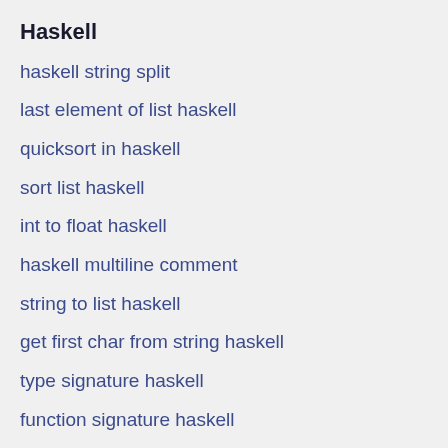Haskell
haskell string split
last element of list haskell
quicksort in haskell
sort list haskell
int to float haskell
haskell multiline comment
string to list haskell
get first char from string haskell
type signature haskell
function signature haskell
ask input haskell
PowerShell